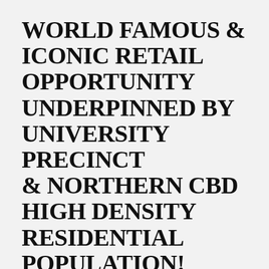WORLD FAMOUS & ICONIC RETAIL OPPORTUNITY UNDERPINNED BY UNIVERSITY PRECINCT & NORTHERN CBD HIGH DENSITY RESIDENTIAL POPULATION!
INTERNATIONALLY RECOGNISED PREMISES
2 SHOPS FROM 100SQM* – 250SQM*
UNIVERSITY & CBD NORTH PRECINCT